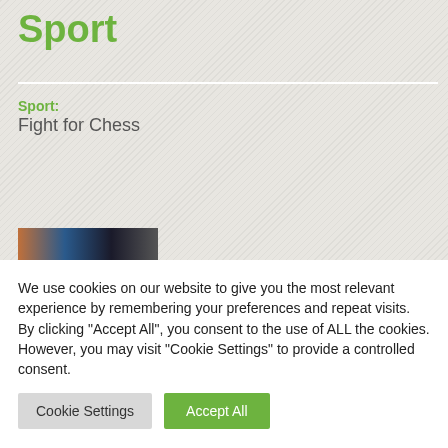Sport
Sport:
Fight for Chess
[Figure (photo): Partial photo strip showing a person, partially visible at bottom of top section]
We use cookies on our website to give you the most relevant experience by remembering your preferences and repeat visits. By clicking “Accept All”, you consent to the use of ALL the cookies. However, you may visit "Cookie Settings" to provide a controlled consent.
Cookie Settings
Accept All